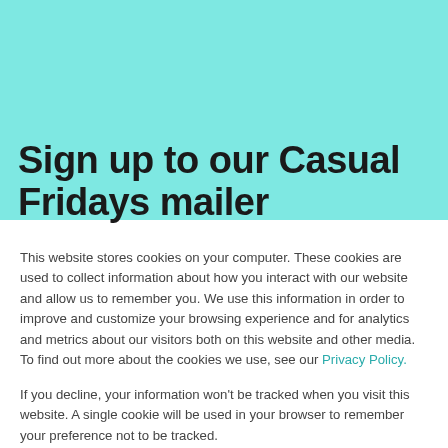Sign up to our Casual Fridays mailer
This website stores cookies on your computer. These cookies are used to collect information about how you interact with our website and allow us to remember you. We use this information in order to improve and customize your browsing experience and for analytics and metrics about our visitors both on this website and other media. To find out more about the cookies we use, see our Privacy Policy.
If you decline, your information won't be tracked when you visit this website. A single cookie will be used in your browser to remember your preference not to be tracked.